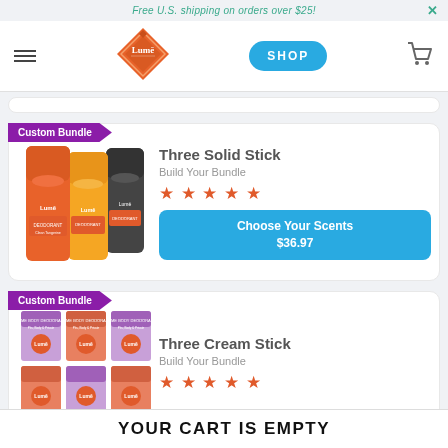Free U.S. shipping on orders over $25!
[Figure (logo): Lume deodorant logo - orange diamond shape with Lume text]
SHOP
[Figure (illustration): Three solid stick deodorants (orange, yellow, dark) side by side]
Three Solid Stick
Build Your Bundle
★★★★★
Choose Your Scents
$36.97
[Figure (illustration): Three cream stick deodorant boxes (purple/orange) arranged together]
Three Cream Stick
Build Your Bundle
★★★★★
YOUR CART IS EMPTY